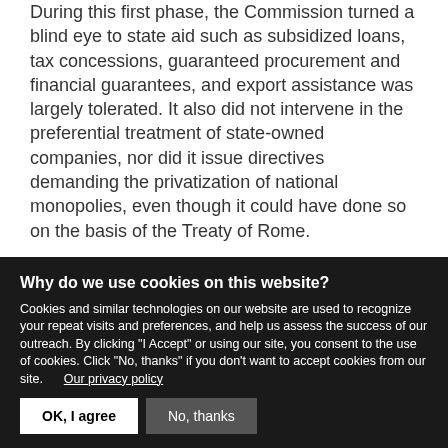During this first phase, the Commission turned a blind eye to state aid such as subsidized loans, tax concessions, guaranteed procurement and financial guarantees, and export assistance was largely tolerated. It also did not intervene in the preferential treatment of state-owned companies, nor did it issue directives demanding the privatization of national monopolies, even though it could have done so on the basis of the Treaty of Rome.
The Commission moreover imposed mild sanctions on so-called cartel agreements between competing companies that limited competition through fixing...
Why do we use cookies on this website? Cookies and similar technologies on our website are used to recognize your repeat visits and preferences, and help us assess the success of our outreach. By clicking "I Accept" or using our site, you consent to the use of cookies. Click "No, thanks" if you don't want to accept cookies from our site. Our privacy policy